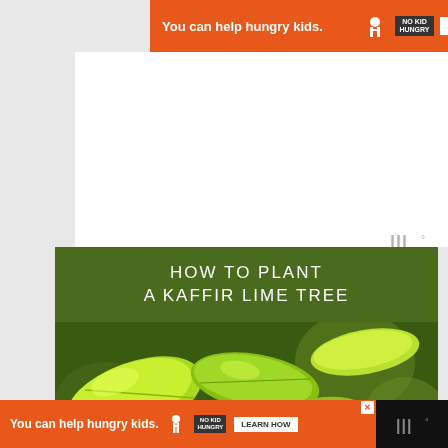[Figure (screenshot): Orange ad banner: 'You can help hungry kids.' with No Kid Hungry logo and LEARN HOW button, with blue X close button]
[Figure (screenshot): White empty content area, advertisement placeholder]
[Figure (illustration): Moat analytics watermark symbol in gray]
[Figure (photo): Article header image: dark green banner reading 'HOW TO PLANT A KAFFIR LIME TREE' in white uppercase letters above a close-up photo of bright green lime tree leaves]
[Figure (screenshot): Bottom sticky orange ad banner on black background: 'You can help hungry kids.' with No Kid Hungry logo and LEARN HOW button, red X close, and Moat watermark]